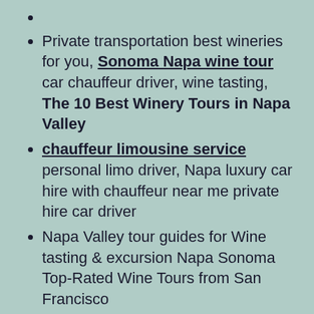Private transportation best wineries for you, Sonoma Napa wine tour car chauffeur driver, wine tasting, The 10 Best Winery Tours in Napa Valley
chauffeur limousine service personal limo driver, Napa luxury car hire with chauffeur near me private hire car driver
Napa Valley tour guides for Wine tasting & excursion Napa Sonoma Top-Rated Wine Tours from San Francisco
San Francisco to Sonoma & Napa private chauffeur needed business chauffeur services, Napa Valley Sonoma